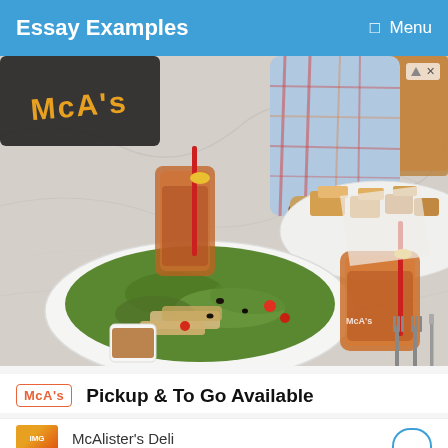Essay Examples  Menu
[Figure (photo): Overhead/table-level view of McAlister's Deli restaurant food: salad on white plate with dressing cup, iced tea drinks with red straws, club sandwich platter, marble table surface, person in plaid shirt in background, McAlister's branded cups visible.]
Pickup & To Go Available
McAlister's Deli